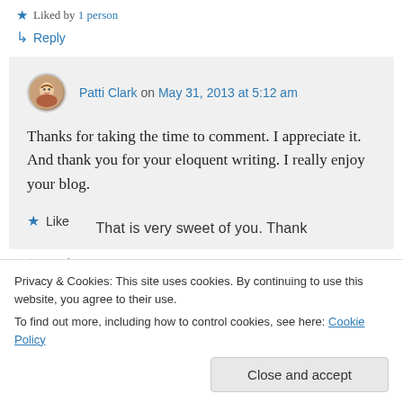★ Liked by 1 person
↳ Reply
Patti Clark on May 31, 2013 at 5:12 am
Thanks for taking the time to comment. I appreciate it. And thank you for your eloquent writing. I really enjoy your blog.
★ Like
↳ Reply
Privacy & Cookies: This site uses cookies. By continuing to use this website, you agree to their use.
To find out more, including how to control cookies, see here: Cookie Policy
Close and accept
That is very sweet of you. Thank